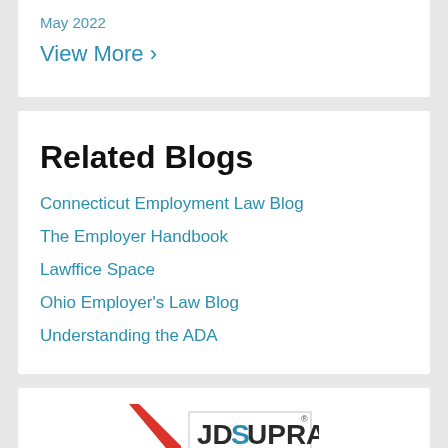May 2022
View More ›
Related Blogs
Connecticut Employment Law Blog
The Employer Handbook
Lawffice Space
Ohio Employer's Law Blog
Understanding the ADA
[Figure (logo): JDSupra logo with red triangle and teal/dark text]